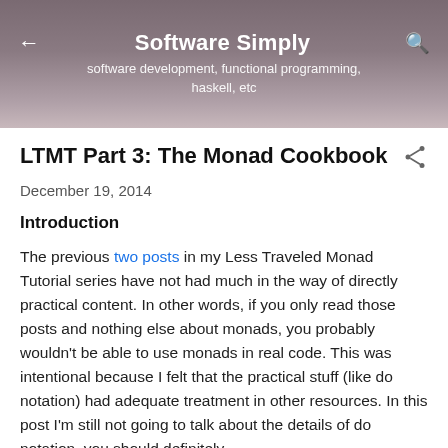Software Simply
software development, functional programming, haskell, etc
LTMT Part 3: The Monad Cookbook
December 19, 2014
Introduction
The previous two posts in my Less Traveled Monad Tutorial series have not had much in the way of directly practical content. In other words, if you only read those posts and nothing else about monads, you probably wouldn't be able to use monads in real code. This was intentional because I felt that the practical stuff (like do notation) had adequate treatment in other resources. In this post I'm still not going to talk about the details of do notation–you should definitely